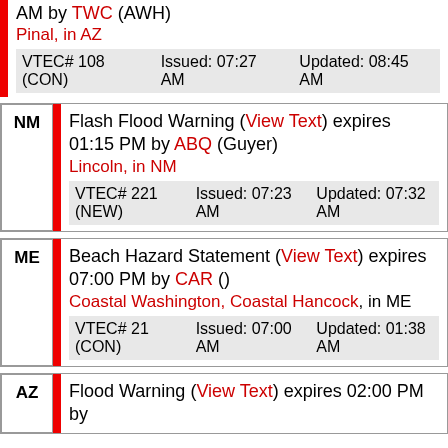AM by TWC (AWH) Pinal, in AZ VTEC# 108 (CON) Issued: 07:27 AM Updated: 08:45 AM
NM Flash Flood Warning (View Text) expires 01:15 PM by ABQ (Guyer) Lincoln, in NM VTEC# 221 (NEW) Issued: 07:23 AM Updated: 07:32 AM
ME Beach Hazard Statement (View Text) expires 07:00 PM by CAR () Coastal Washington, Coastal Hancock, in ME VTEC# 21 (CON) Issued: 07:00 AM Updated: 01:38 AM
AZ Flood Warning (View Text) expires 02:00 PM by